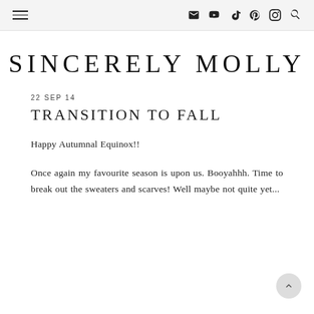SINCERELY MOLLY — navigation header with hamburger menu and social icons
SINCERELY MOLLY
22 SEP 14
TRANSITION TO FALL
Happy Autumnal Equinox!!
Once again my favourite season is upon us. Booyahhh. Time to break out the sweaters and scarves! Well maybe not quite yet...